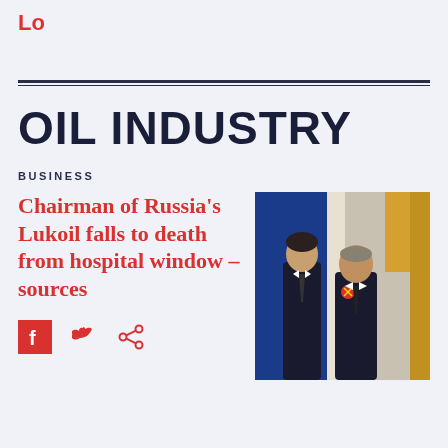Lo
OIL INDUSTRY
BUSINESS
Chairman of Russia's Lukoil falls to death from hospital window – sources
[Figure (photo): Two men in dark suits standing together at a formal ceremony; one with a red ribbon award on his lapel, Russian flag and ornate interior visible in background]
[Figure (infographic): Social media share icons: Facebook, Twitter, Share]